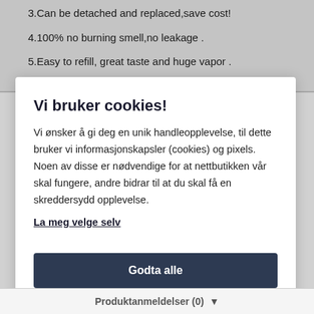3.Can be detached and replaced,save cost!
4.100% no burning smell,no leakage .
5.Easy to refill, great taste and huge vapor .
Vi bruker cookies!
Vi ønsker å gi deg en unik handleopplevelse, til dette bruker vi informasjonskapsler (cookies) og pixels. Noen av disse er nødvendige for at nettbutikken vår skal fungere, andre bidrar til at du skal få en skreddersydd opplevelse.
La meg velge selv
Godta alle
Godta kun nødvendige
Produktanmeldelser (0)